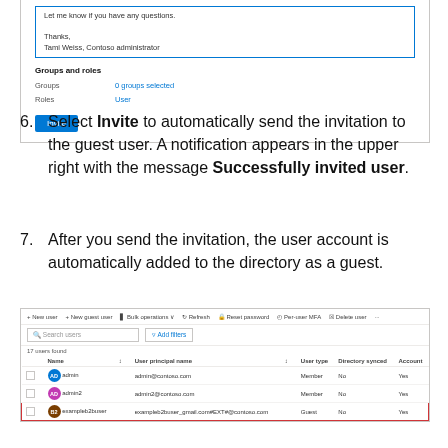[Figure (screenshot): Azure AD invite form screenshot showing message box, Groups and roles section with 0 groups selected and User role, and Invite button]
6. Select Invite to automatically send the invitation to the guest user. A notification appears in the upper right with the message Successfully invited user.
7. After you send the invitation, the user account is automatically added to the directory as a guest.
[Figure (screenshot): Azure AD Users list showing admin, admin2, and exampleb2buser (Guest) entries with columns: Name, User principal name, User type, Directory synced, Account]